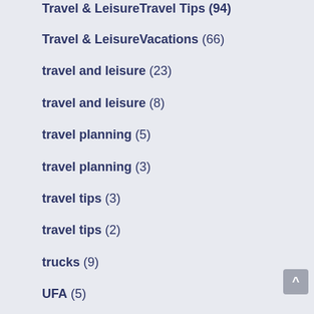Travel & LeisureTravel Tips (94)
Travel & LeisureVacations (66)
travel and leisure (23)
travel and leisure (8)
travel planning (5)
travel planning (3)
travel tips (3)
travel tips (2)
trucks (9)
UFA (5)
ultrasonic skin scrubber (3)
ultrasonic skin scrubber (1)